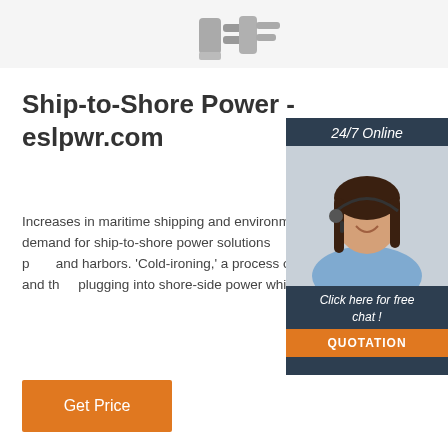[Figure (photo): Top partial image of electrical plug/connector hardware on white/grey background]
Ship-to-Shore Power - eslpwr.com
Increases in maritime shipping and environmental pollution concerns have created demand for ship-to-shore power solutions to comply with environmental restrictions in ports and harbors. 'Cold-ironing,' a process of ships shutting down on-board generation and then plugging into shore-side power while in berth, reduce air pollution by ...
[Figure (photo): Customer service woman with headset smiling, with '24/7 Online' label, 'Click here for free chat!' text, and orange QUOTATION button on dark blue background sidebar]
Get Price